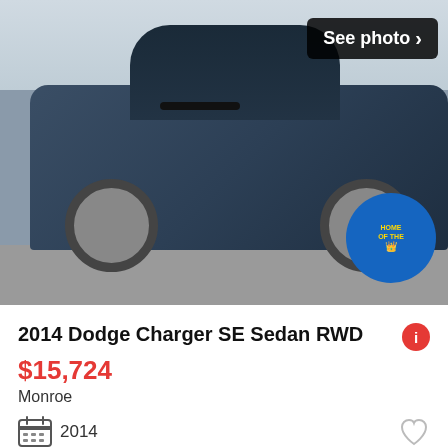[Figure (photo): Dark blue 2014 Dodge Charger SE Sedan parked in a lot, front-facing slightly angled view. A dealer badge visible in bottom right corner.]
2014 Dodge Charger SE Sedan RWD
$15,724
Monroe
2014
30+ days ago
[Figure (photo): Dark/black Dodge Charger viewed from the side profile, showing doors and wheel. See photo button visible in bottom right.]